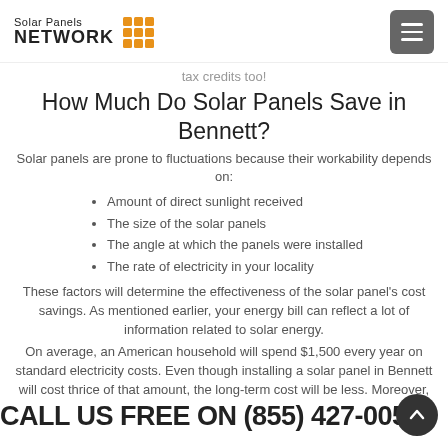Solar Panels NETWORK
tax credits too!
How Much Do Solar Panels Save in Bennett?
Solar panels are prone to fluctuations because their workability depends on:
Amount of direct sunlight received
The size of the solar panels
The angle at which the panels were installed
The rate of electricity in your locality
These factors will determine the effectiveness of the solar panel's cost savings. As mentioned earlier, your energy bill can reflect a lot of information related to solar energy.
On average, an American household will spend $1,500 every year on standard electricity costs. Even though installing a solar panel in Bennett will cost thrice of that amount, the long-term cost will be less. Moreover,
CALL US FREE ON (855) 427-0058